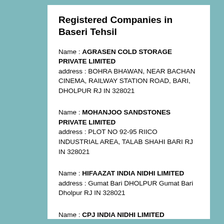Registered Companies in Baseri Tehsil
Name : AGRASEN COLD STORAGE PRIVATE LIMITED
address : BOHRA BHAWAN, NEAR BACHAN CINEMA, RAILWAY STATION ROAD, BARI, DHOLPUR RJ IN 328021
Name : MOHANJOO SANDSTONES PRIVATE LIMITED
address : PLOT NO 92-95 RIICO INDUSTRIAL AREA, TALAB SHAHI BARI RJ IN 328021
Name : HIFAAZAT INDIA NIDHI LIMITED
address : Gumat Bari DHOLPUR Gumat Bari Dholpur RJ IN 328021
Name : CPJ INDIA NIDHI LIMITED
address : SECTOR NO. 2 opp. Alok School KHANDU COLONY BANSWARA Banswara RJ IN 328021
Name : BARI KISAN PRODUCER COMPANY LIMITED
address : VILLAGE ADAMPUR, TH. BARI, DHOLPUR